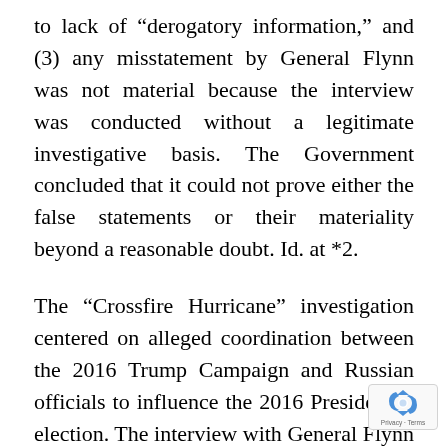to lack of “derogatory information,” and (3) any misstatement by General Flynn was not material because the interview was conducted without a legitimate investigative basis. The Government concluded that it could not prove either the false statements or their materiality beyond a reasonable doubt. Id. at *2.
The “Crossfire Hurricane” investigation centered on alleged coordination between the 2016 Trump Campaign and Russian officials to influence the 2016 Presidential election. The interview with General Flynn centered upon General Flynn’s conversations with Russian Ambassador Kislyak after the election during the transition period. At that time, General